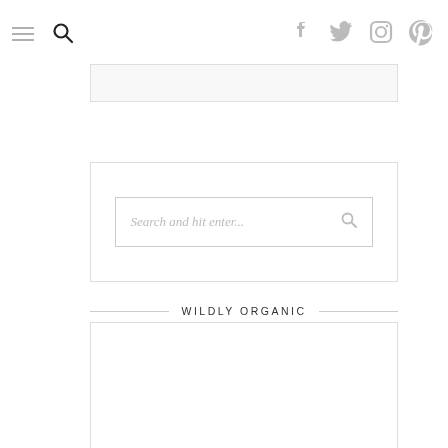Navigation header with hamburger menu, search icon, and social icons (Facebook, Twitter, Instagram, Pinterest)
[Figure (screenshot): Top content box placeholder (light gray bordered rectangle)]
[Figure (screenshot): Search widget with text input placeholder 'Search and hit enter...' and search icon]
WILDLY ORGANIC
[Figure (screenshot): Content area box below WILDLY ORGANIC section header (blank white rectangle)]